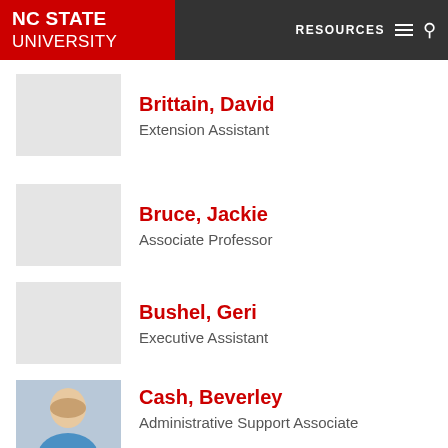NC STATE UNIVERSITY — RESOURCES
Brittain, David — Extension Assistant
Bruce, Jackie — Associate Professor
Bushel, Geri — Executive Assistant
Cash, Beverley — Administrative Support Associate
Chapman, Benjamin — Department Head